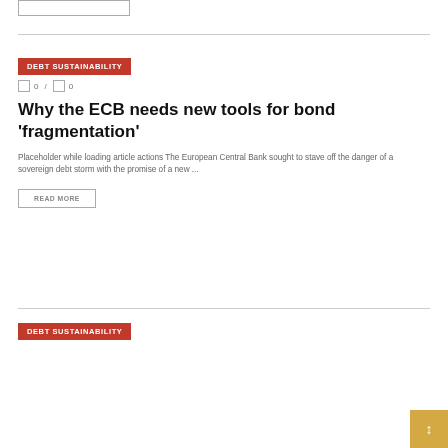[Figure (other): Small placeholder box in top left corner]
DEBT SUSTAINABILITY
0 / 0
Why the ECB needs new tools for bond ‘fragmentation’
Placeholder while loading article actions The European Central Bank sought to stave off the danger of a sovereign debt storm with the promise of a new ...
READ MORE
DEBT SUSTAINABILITY